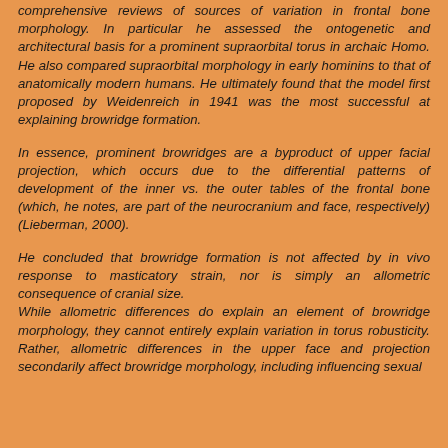comprehensive reviews of sources of variation in frontal bone morphology. In particular he assessed the ontogenetic and architectural basis for a prominent supraorbital torus in archaic Homo. He also compared supraorbital morphology in early hominins to that of anatomically modern humans. He ultimately found that the model first proposed by Weidenreich in 1941 was the most successful at explaining browridge formation.
In essence, prominent browridges are a byproduct of upper facial projection, which occurs due to the differential patterns of development of the inner vs. the outer tables of the frontal bone (which, he notes, are part of the neurocranium and face, respectively) (Lieberman, 2000).
He concluded that browridge formation is not affected by in vivo response to masticatory strain, nor is simply an allometric consequence of cranial size.
While allometric differences do explain an element of browridge morphology, they cannot entirely explain variation in torus robusticity. Rather, allometric differences in the upper face and projection secondarily affect browridge morphology, including influencing sexual